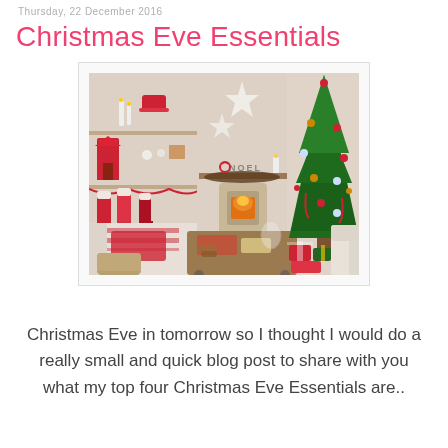Thursday, 22 December 2016
Christmas Eve Essentials
[Figure (photo): A cosy Christmas-decorated living room with stockings on shelves, a lit wood-burning stove, white paper stars on the wall, a NOEL sign on the mantle, a decorated Christmas tree with red ornaments and gifts underneath, and a coffee table with Christmas items.]
Christmas Eve in tomorrow so I thought I would do a really small and quick blog post to share with you what my top four Christmas Eve Essentials are..